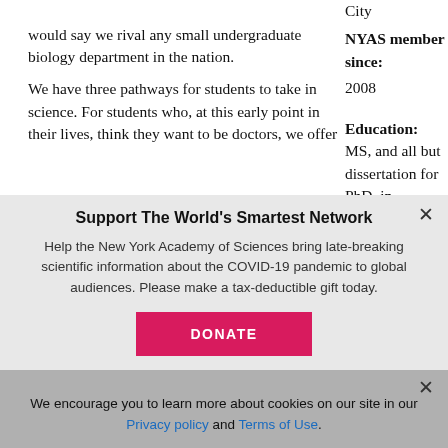would say we rival any small undergraduate biology department in the nation.
City
NYAS member since: 2008
We have three pathways for students to take in science. For students who, at this early point in their lives, think they want to be doctors, we offer
Education: MS, and all but dissertation for PhD, in biochemistry
Support The World's Smartest Network
Help the New York Academy of Sciences bring late-breaking scientific information about the COVID-19 pandemic to global audiences. Please make a tax-deductible gift today.
DONATE
We encourage you to learn more about cookies on our site in our Privacy policy and Terms of Use.